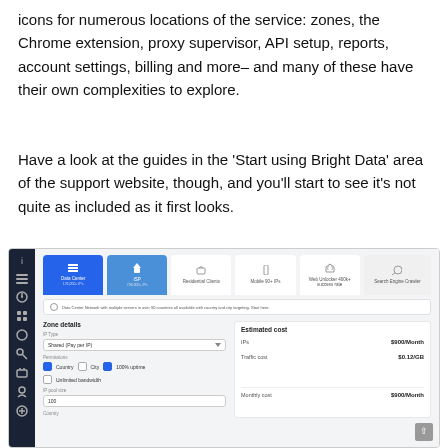icons for numerous locations of the service: zones, the Chrome extension, proxy supervisor, API setup, reports, account settings, billing and more– and many of these have their own complexities to explore.
Have a look at the guides in the 'Start using Bright Data' area of the support website, though, and you'll start to see it's not quite as included as it first looks.
[Figure (screenshot): Screenshot of Bright Data dashboard showing proxy type tabs (Data Center, ISP, Residential, Mobile, Web Unlocker, Search Engine Crawler), Zone details panel with IP Type (Shared Pay per IP), Permissions (Country checked, City unchecked, 100% uptime checked), Unlimited bandwidth unchecked, IP pool size (100), Country field, and Estimated cost panel showing IPs $900/Month, Traffic cost $0.12/GB, Monthly cost $900/Month.]